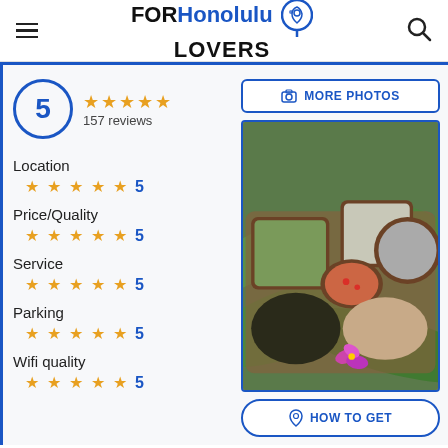FOR Honolulu LOVERS
5 ★★★★★ 157 reviews
Location ★★★★★ 5
Price/Quality ★★★★★ 5
Service ★★★★★ 5
Parking ★★★★★ 5
Wifi quality ★★★★★ 5
[Figure (photo): Hawaiian food spread: various dishes in wooden bowls on banana leaves including poi, lomi salmon, and other traditional foods with a purple orchid garnish]
MORE PHOTOS
HOW TO GET